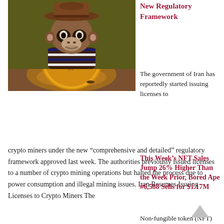[Figure (photo): Photo of a large gold Bitcoin coin embedded in soil with people mining in the background]
New Regulatory Framework
The government of Iran has reportedly started issuing licenses to crypto miners under the new “comprehensive and detailed” regulatory framework approved last week. The authorities previously issued licenses to a number of crypto mining operations but halted the process due to power consumption and illegal mining issues. Iran Resumes Issuing Licenses to Crypto Miners The
[Figure (photo): Illustration of a Bored Ape NFT character wearing a cowboy hat and striped shirt on a dark green background]
This Week’s NFT Sales Jump 26% Higher Than the Week Prior, Bored Ape #6,588 Sells for $1.17M
Non-fungible token (NFT) sales